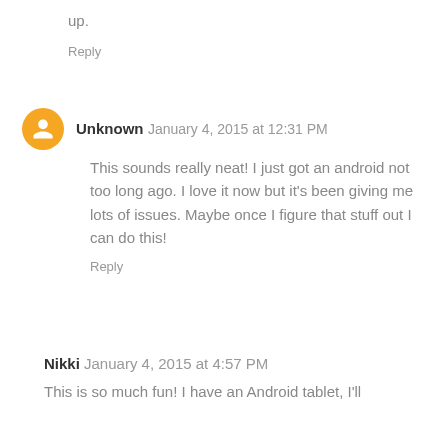up.
Reply
Unknown  January 4, 2015 at 12:31 PM
This sounds really neat! I just got an android not too long ago. I love it now but it's been giving me lots of issues. Maybe once I figure that stuff out I can do this!
Reply
Nikki  January 4, 2015 at 4:57 PM
This is so much fun! I have an Android tablet, I'll